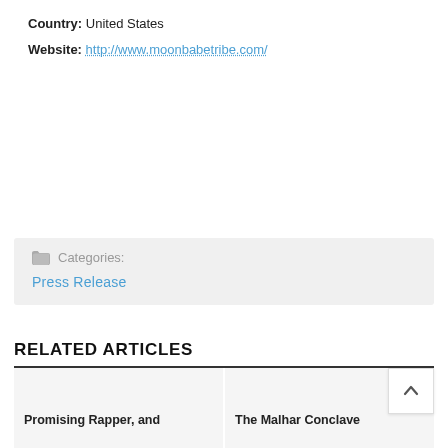Country: United States
Website: http://www.moonbabetribe.com/
Categories: Press Release
RELATED ARTICLES
Promising Rapper, and
The Malhar Conclave